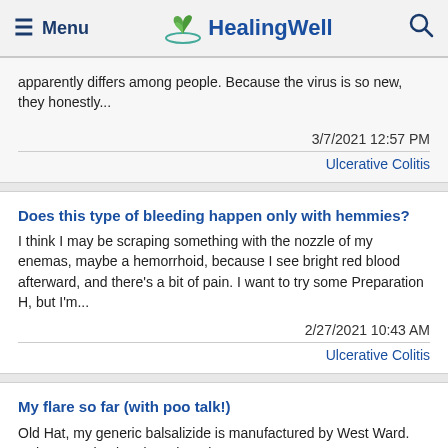Menu | HealingWell | Search
apparently differs among people. Because the virus is so new, they honestly...
3/7/2021 12:57 PM
Ulcerative Colitis
Does this type of bleeding happen only with hemmies?
I think I may be scraping something with the nozzle of my enemas, maybe a hemorrhoid, because I see bright red blood afterward, and there's a bit of pain. I want to try some Preparation H, but I'm...
2/27/2021 10:43 AM
Ulcerative Colitis
My flare so far (with poo talk!)
Old Hat, my generic balsalizide is manufactured by West Ward. Ugh, a step back today. Three large, very urgent